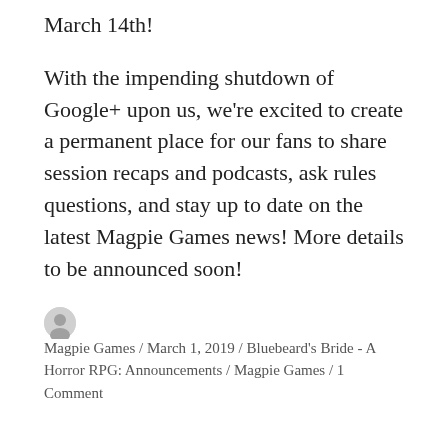March 14th!
With the impending shutdown of Google+ upon us, we're excited to create a permanent place for our fans to share session recaps and podcasts, ask rules questions, and stay up to date on the latest Magpie Games news! More details to be announced soon!
Magpie Games / March 1, 2019 / Bluebeard's Bride - A Horror RPG: Announcements / Magpie Games / 1 Comment
Ok, a lighter mood for the story of Bluebeard.